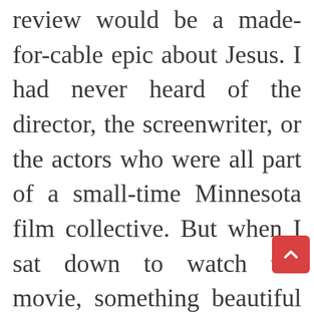review would be a made-for-cable epic about Jesus. I had never heard of the director, the screenwriter, or the actors who were all part of a small-time Minnesota film collective. But when I sat down to watch the movie, something beautiful and strange happened. I found myself rooting for these underdogs and connecting with the characters.